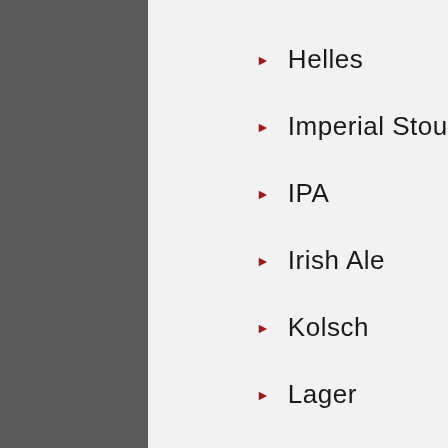Helles
Imperial Stout
IPA
Irish Ale
Kolsch
Lager
Lambic
Maïbock
Mexican Beer
Oktoberfest Marzen